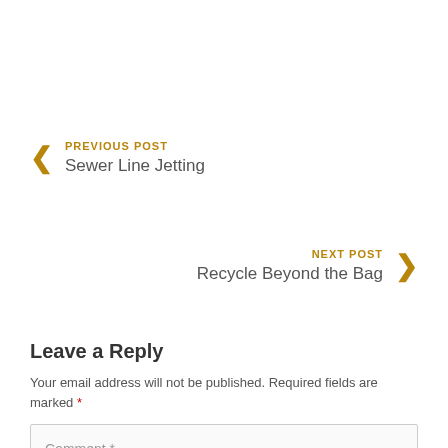PREVIOUS POST
Sewer Line Jetting
NEXT POST
Recycle Beyond the Bag
Leave a Reply
Your email address will not be published. Required fields are marked *
Comment *